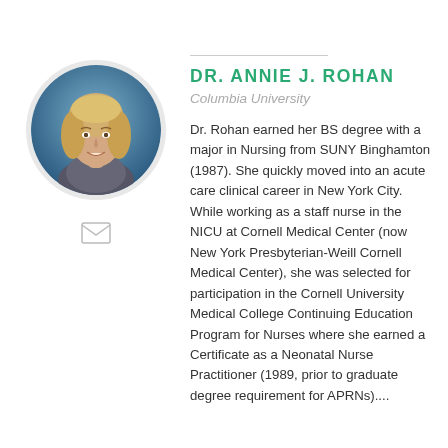[Figure (photo): Circular headshot photo of Dr. Annie J. Rohan, a woman with blonde hair wearing professional attire against a blue background]
[Figure (other): Email envelope icon below the headshot photo]
DR. ANNIE J. ROHAN
Columbia University
Dr. Rohan earned her BS degree with a major in Nursing from SUNY Binghamton (1987). She quickly moved into an acute care clinical career in New York City. While working as a staff nurse in the NICU at Cornell Medical Center (now New York Presbyterian-Weill Cornell Medical Center), she was selected for participation in the Cornell University Medical College Continuing Education Program for Nurses where she earned a Certificate as a Neonatal Nurse Practitioner (1989, prior to graduate degree requirement for APRNs)....